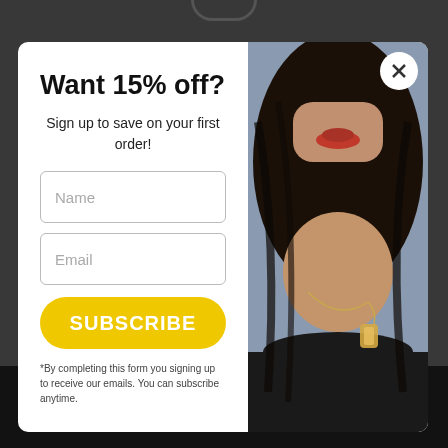Want 15% off?
Sign up to save on your first order!
Name
Email
SUBSCRIBE
*By completing this form you signing up to receive our emails. You can subscribe anytime.
[Figure (photo): Woman with dark hair, red lips, and a gold necklace wearing a black top — right panel of email signup modal]
Wishlist   Cart   Shop   Search